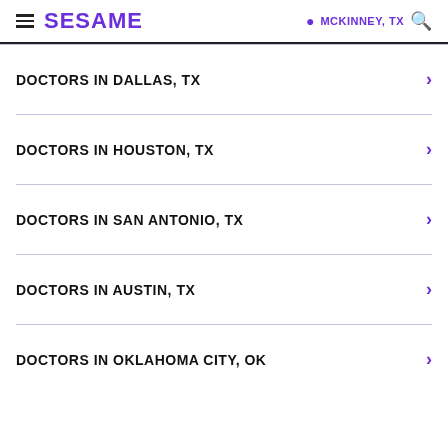SESAME | MCKINNEY, TX
DOCTORS IN DALLAS, TX
DOCTORS IN HOUSTON, TX
DOCTORS IN SAN ANTONIO, TX
DOCTORS IN AUSTIN, TX
DOCTORS IN OKLAHOMA CITY, OK